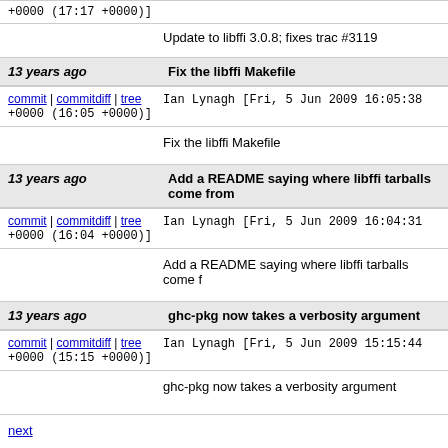+0000 (17:17 +0000)]
Update to libffi 3.0.8; fixes trac #3119
13 years ago	Fix the libffi Makefile
commit | commitdiff | tree
Ian Lynagh [Fri, 5 Jun 2009 16:05:38 +0000 (16:05 +0000)]
Fix the libffi Makefile
13 years ago	Add a README saying where libffi tarballs come from
commit | commitdiff | tree
Ian Lynagh [Fri, 5 Jun 2009 16:04:31 +0000 (16:04 +0000)]
Add a README saying where libffi tarballs come f
13 years ago	ghc-pkg now takes a verbosity argument
commit | commitdiff | tree
Ian Lynagh [Fri, 5 Jun 2009 15:15:44 +0000 (15:15 +0000)]
ghc-pkg now takes a verbosity argument
next